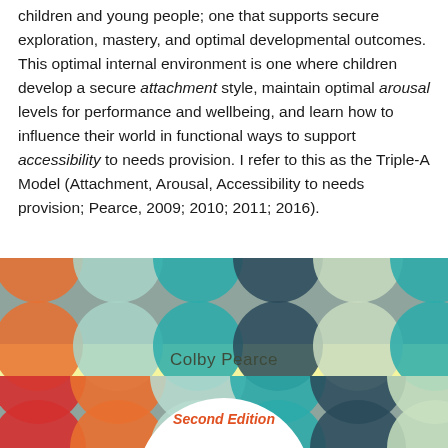children and young people; one that supports secure exploration, mastery, and optimal developmental outcomes. This optimal internal environment is one where children develop a secure attachment style, maintain optimal arousal levels for performance and wellbeing, and learn how to influence their world in functional ways to support accessibility to needs provision. I refer to this as the Triple-A Model (Attachment, Arousal, Accessibility to needs provision; Pearce, 2009; 2010; 2011; 2016).
[Figure (illustration): Book cover section showing decorative retro geometric pattern with overlapping circles in orange, red, teal, dark teal, mint green on a grey-taupe background. A pale yellow band shows author name 'Colby Pearce'. Lower section has same pattern with a large white circle containing 'Second Edition' in red italic text.]